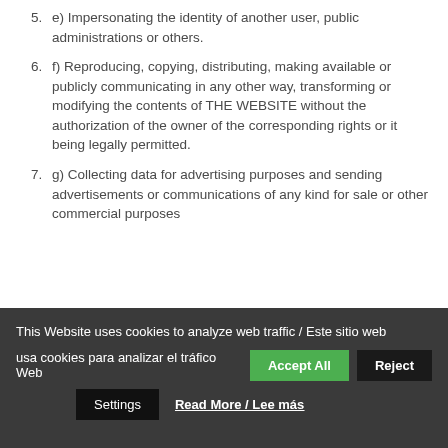e) Impersonating the identity of another user, public administrations or others.
f) Reproducing, copying, distributing, making available or publicly communicating in any other way, transforming or modifying the contents of THE WEBSITE without the authorization of the owner of the corresponding rights or it being legally permitted.
g) Collecting data for advertising purposes and sending advertisements or communications of any kind for sale or other commercial purposes without prior written consent...
This Website uses cookies to analyze web traffic / Este sitio web usa cookies para analizar el tráfico Web   Accept All   Reject   Settings   Read More / Lee más